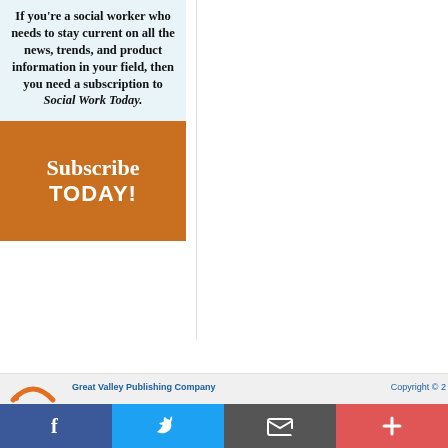If you're a social worker who needs to stay current on all the news, trends, and product information in your field, then you need a subscription to Social Work Today.
[Figure (infographic): Orange subscription call-to-action banner reading 'Subscribe TODAY!']
Great Valley Publishing Company   Copyright © 2
[Figure (infographic): Social media share bar with Facebook, Twitter, email, and plus buttons]